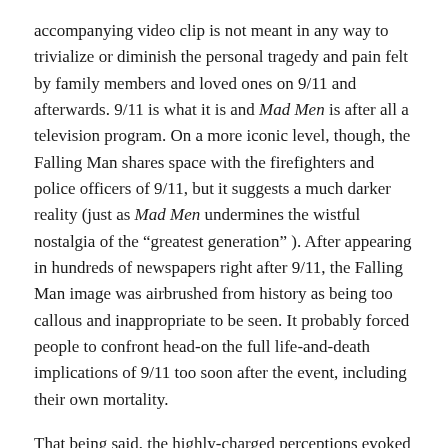accompanying video clip is not meant in any way to trivialize or diminish the personal tragedy and pain felt by family members and loved ones on 9/11 and afterwards. 9/11 is what it is and Mad Men is after all a television program. On a more iconic level, though, the Falling Man shares space with the firefighters and police officers of 9/11, but it suggests a much darker reality (just as Mad Men undermines the wistful nostalgia of the “greatest generation” ). After appearing in hundreds of newspapers right after 9/11, the Falling Man image was airbrushed from history as being too callous and inappropriate to be seen. It probably forced people to confront head-on the full life-and-death implications of 9/11 too soon after the event, including their own mortality.
That being said, the highly-charged perceptions evoked by the Falling Man image cannot be suppressed forever. It has already found its way into Eric Fischl’s sculpture, Tumbling Woman (2002), Henry Singer’s documentary, 9/11: The Falling Man